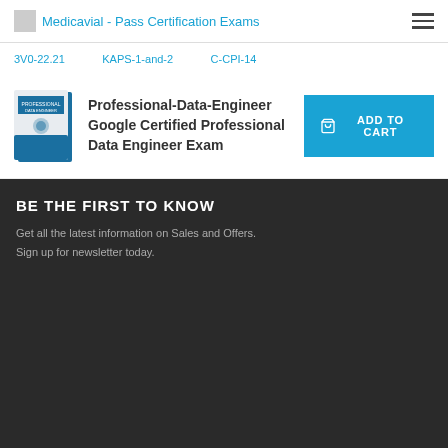Medicavial - Pass Certification Exams
3V0-22.21
KAPS-1-and-2
C-CPI-14
Professional-Data-Engineer Google Certified Professional Data Engineer Exam
[Figure (photo): Book cover for Professional Data Engineer exam prep guide]
ADD TO CART
BE THE FIRST TO KNOW
Get all the latest information on Sales and Offers.
Sign up for newsletter today.